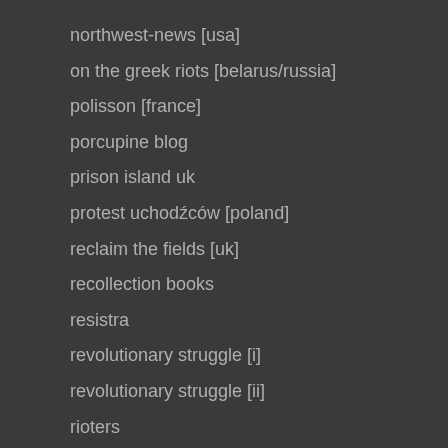northwest-news [usa]
on the greek riots [belarus/russia]
polisson [france]
porcupine blog
prison island uk
protest uchodźców [poland]
reclaim the fields [uk]
recollection books
resistra
revolutionary struggle [i]
revolutionary struggle [ii]
rioters
sabotagemedia
santiasko anarquista
schengendangle